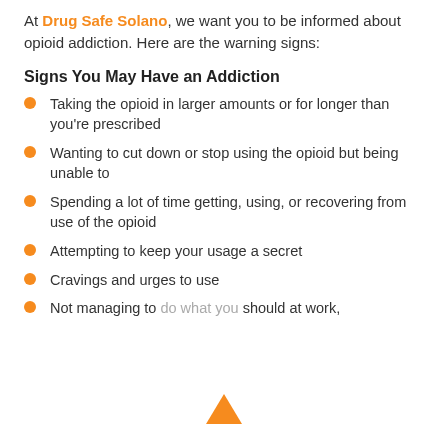At Drug Safe Solano, we want you to be informed about opioid addiction. Here are the warning signs:
Signs You May Have an Addiction
Taking the opioid in larger amounts or for longer than you're prescribed
Wanting to cut down or stop using the opioid but being unable to
Spending a lot of time getting, using, or recovering from use of the opioid
Attempting to keep your usage a secret
Cravings and urges to use
Not managing to do what you should at work,